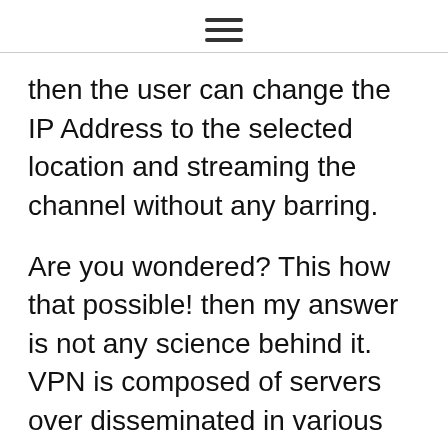≡
then the user can change the IP Address to the selected location and streaming the channel without any barring.
Are you wondered? This how that possible! then my answer is not any science behind it. VPN is composed of servers over disseminated in various countries. So when you connect with a VPN server you get to use an IP Address from the country where it located but you can be from 1 country